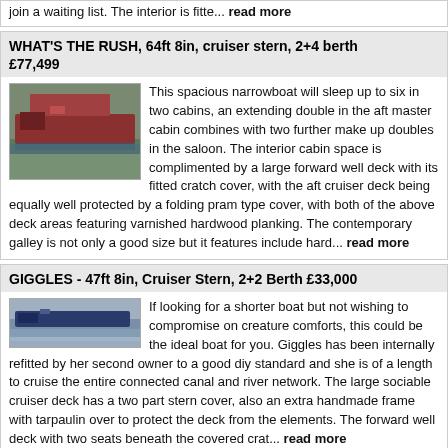join a waiting list. The interior is fitte... read more
WHAT'S THE RUSH, 64ft 8in, cruiser stern, 2+4 berth £77,499
[Figure (photo): Photo of a red narrowboat on a canal]
This spacious narrowboat will sleep up to six in two cabins, an extending double in the aft master cabin combines with two further make up doubles in the saloon. The interior cabin space is complimented by a large forward well deck with its fitted cratch cover, with the aft cruiser deck being equally well protected by a folding pram type cover, with both of the above deck areas featuring varnished hardwood planking. The contemporary galley is not only a good size but it features include hard... read more
GIGGLES - 47ft 8in, Cruiser Stern, 2+2 Berth £33,000
[Figure (photo): Photo of a narrowboat on a canal]
If looking for a shorter boat but not wishing to compromise on creature comforts, this could be the ideal boat for you. Giggles has been internally refitted by her second owner to a good diy standard and she is of a length to cruise the entire connected canal and river network. The large sociable cruiser deck has a two part stern cover, also an extra handmade frame with tarpaulin over to protect the deck from the elements. The forward well deck with two seats beneath the covered crat... read more
ACHIEVEMENT - 38ft 3in, cruiser stern with 0+3 berths